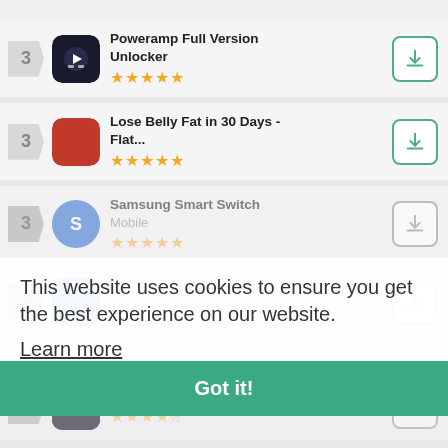3 - Poweramp Full Version Unlocker - 5 stars
3 - Lose Belly Fat in 30 Days - Flat... - 5 stars
3 - Samsung Smart Switch Mobile - 4 stars (faded)
2 - Jewels Star - 4 stars (faded)
This website uses cookies to ensure you get the best experience on our website.
Learn more
Got it!
2 - NBA LIVE Mobile Basketball - 4 stars (faded)